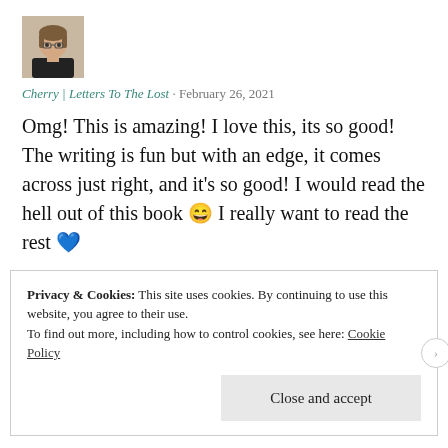[Figure (illustration): Small avatar image of an anime-style character with brown hair]
Cherry | Letters To The Lost · February 26, 2021
Omg! This is amazing! I love this, its so good! The writing is fun but with an edge, it comes across just right, and it's so good! I would read the hell out of this book 😄 I really want to read the rest 💙
★ Liked by 1 person
Privacy & Cookies: This site uses cookies. By continuing to use this website, you agree to their use.
To find out more, including how to control cookies, see here: Cookie Policy
Close and accept